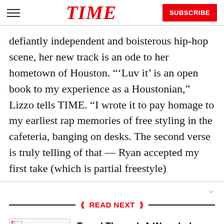TIME  SUBSCRIBE
defiantly independent and boisterous hip-hop scene, her new track is an ode to her hometown of Houston. “‘Luv it’ is an open book to my experience as a Houstonian,” Lizzo tells TIME. “I wrote it to pay homage to my earliest rap memories of free styling in the cafeteria, banging on desks. The second verse is truly telling of that — Ryan accepted my first take (which is partial freestyle)
READ NEXT
Travel Through A Wormhole With Matthew McConaughey